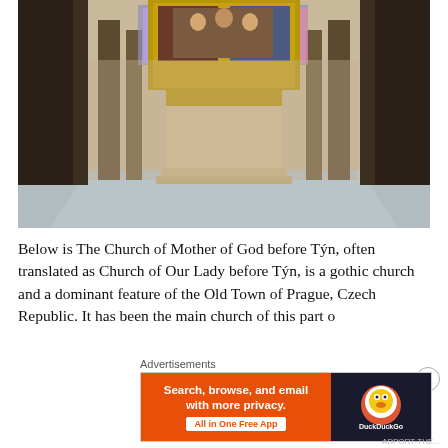[Figure (photo): Interior photograph of The Church of Mother of God before Týn, showing a stone altar pedestal in the center, golden altarpiece with religious paintings at the top, columns on either side, stained glass windows visible in the background, grey stone floor.]
Below is The Church of Mother of God before Týn, often translated as Church of Our Lady before Týn, is a gothic church and a dominant feature of the Old Town of Prague, Czech Republic. It has been the main church of this part o
Advertisements
[Figure (screenshot): DuckDuckGo advertisement banner. Left side orange background with text: 'Search, browse, and email with more privacy. All in One Free App'. Right side dark background with DuckDuckGo logo.]